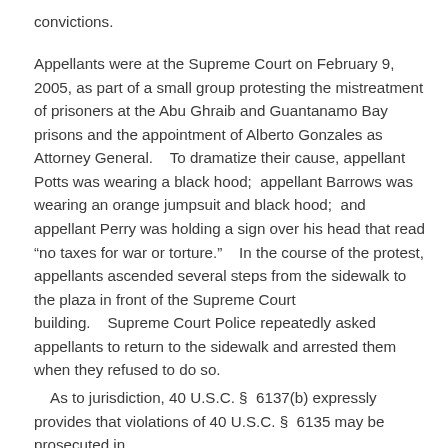convictions.
Appellants were at the Supreme Court on February 9, 2005, as part of a small group protesting the mistreatment of prisoners at the Abu Ghraib and Guantanamo Bay prisons and the appointment of Alberto Gonzales as Attorney General.    To dramatize their cause, appellant Potts was wearing a black hood;  appellant Barrows was wearing an orange jumpsuit and black hood;  and appellant Perry was holding a sign over his head that read “no taxes for war or torture.”    In the course of the protest, appellants ascended several steps from the sidewalk to the plaza in front of the Supreme Court building.    Supreme Court Police repeatedly asked appellants to return to the sidewalk and arrested them when they refused to do so.
As to jurisdiction, 40 U.S.C. §  6137(b) expressly provides that violations of 40 U.S.C. §  6135 may be prosecuted in